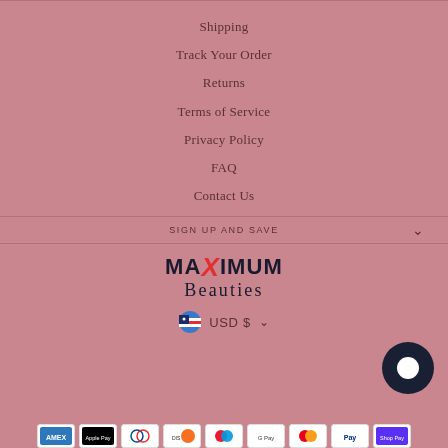Shipping
Track Your Order
Returns
Terms of Service
Privacy Policy
FAQ
Contact Us
SIGN UP AND SAVE
[Figure (logo): Maximum Beauties logo with stylized red R]
USD $
[Figure (other): Payment method icons: Amex, Apple Pay, Diners Club, Discover, Maestro, Google Pay, Mastercard, PayPal, Shop Pay]